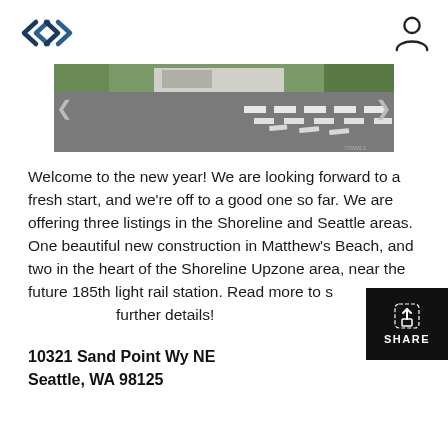[Figure (logo): Double left-right arrow logo icon in teal/dark blue]
[Figure (illustration): User/account silhouette icon]
[Figure (photo): Street photo showing a road with a crosswalk and buildings/trees in background]
Welcome to the new year! We are looking forward to a fresh start, and we’re off to a good one so far. We are offering three listings in the Shoreline and Seattle areas. One beautiful new construction in Matthew’s Beach, and two in the heart of the Shoreline Upzone area, near the future 185th light rail station. Read more to see further details!
10321 Sand Point Wy NE
Seattle, WA 98125